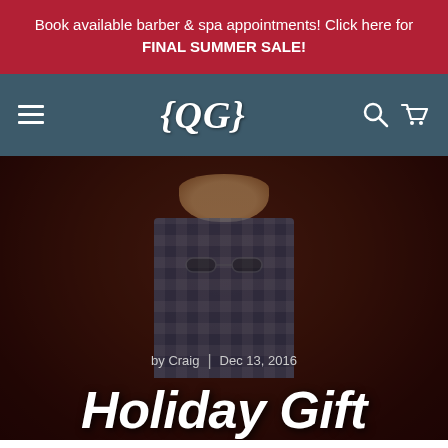Book available barber & spa appointments! Click here for FINAL SUMMER SALE!
[Figure (screenshot): Website navigation bar with hamburger menu on the left, QG logo in center, search and cart icons on the right, on a dark teal background]
[Figure (photo): Dark hero image showing men's clothing items (plaid shirt, bowl) on a dark wood background with blog post byline and title overlay]
by Craig | Dec 13, 2016
Holiday Gift